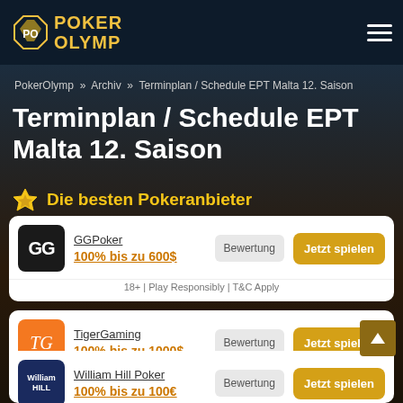[Figure (logo): Poker Olymp logo with diamond shape graphic and text POKER OLYMP in gold]
PokerOlymp » Archiv » Terminplan / Schedule EPT Malta 12. Saison
Terminplan / Schedule EPT Malta 12. Saison
Die besten Pokeranbieter
GGPoker
100% bis zu 600$
Bewertung
Jetzt spielen
18+ | Play Responsibly | T&C Apply
TigerGaming
100% bis zu 1000$
Bewertung
Jetzt spielen
William Hill Poker
100% bis zu 100€
Bewertung
Jetzt spielen